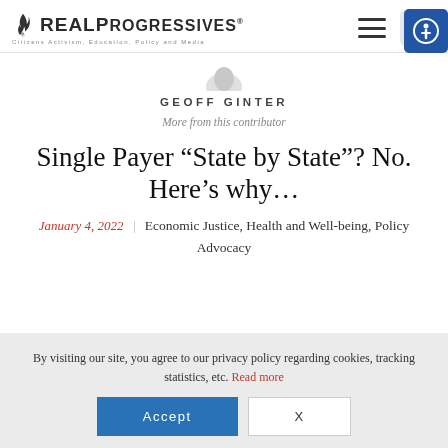Real Progressives — Citizens Activism, Education, Policy and Media
GEOFF GINTER
More from this contributor
Single Payer “State by State”? No. Here’s why…
January 4, 2022 | Economic Justice, Health and Well-being, Policy Advocacy
By visiting our site, you agree to our privacy policy regarding cookies, tracking statistics, etc. Read more